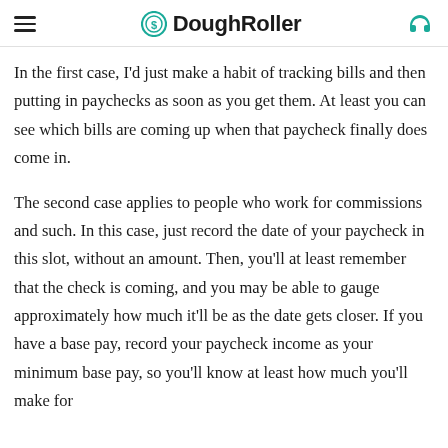DoughRoller
In the first case, I'd just make a habit of tracking bills and then putting in paychecks as soon as you get them. At least you can see which bills are coming up when that paycheck finally does come in.
The second case applies to people who work for commissions and such. In this case, just record the date of your paycheck in this slot, without an amount. Then, you'll at least remember that the check is coming, and you may be able to gauge approximately how much it'll be as the date gets closer. If you have a base pay, record your paycheck income as your minimum base pay, so you'll know at least how much you'll make for